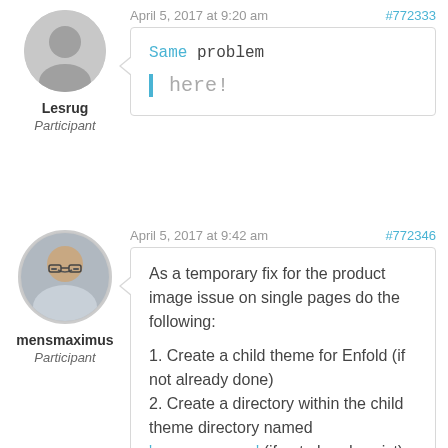April 5, 2017 at 9:20 am
#772333
[Figure (illustration): Gray circular avatar placeholder icon]
Lesrug
Participant
Same problem

here!
April 5, 2017 at 9:42 am
#772346
[Figure (photo): Circular profile photo of a man with glasses and short gray hair, smiling]
mensmaximus
Participant
As a temporary fix for the product image issue on single pages do the following:

1. Create a child theme for Enfold (if not already done)
2. Create a directory within the child theme directory named 'woocommerce' (if not already exist)